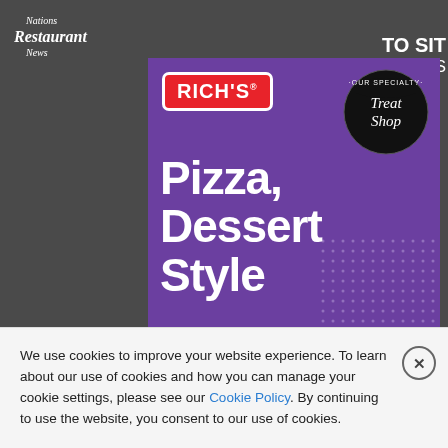[Figure (screenshot): Screenshot of Nations Restaurant News website with a Rich's ad overlay showing 'Pizza, Dessert Style' with LEARN MORE button on purple background, and a cookie consent banner at the bottom.]
We use cookies to improve your website experience. To learn about our use of cookies and how you can manage your cookie settings, please see our Cookie Policy. By continuing to use the website, you consent to our use of cookies.